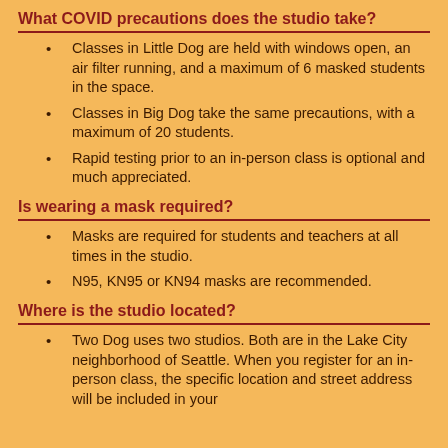What COVID precautions does the studio take?
Classes in Little Dog are held with windows open, an air filter running, and a maximum of 6 masked students in the space.
Classes in Big Dog take the same precautions, with a maximum of 20 students.
Rapid testing prior to an in-person class is optional and much appreciated.
Is wearing a mask required?
Masks are required for students and teachers at all times in the studio.
N95, KN95 or KN94 masks are recommended.
Where is the studio located?
Two Dog uses two studios. Both are in the Lake City neighborhood of Seattle. When you register for an in-person class, the specific location and street address will be included in your